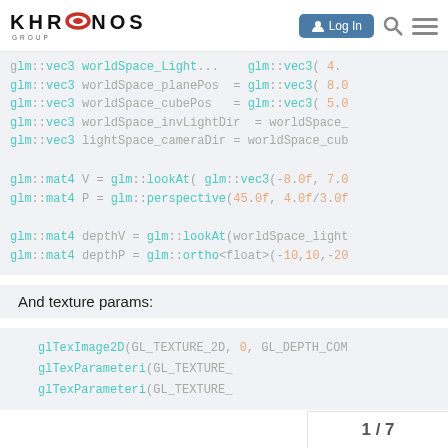KHRONOS GROUP — Log In
[Figure (screenshot): Code block showing glm C++ vector and matrix variable declarations with syntax highlighting. Cyan keywords and orange numbers on light gray background. Code: glm::vec3 worldSpace_planePos = glm::vec3( 8.0..., glm::vec3 worldSpace_cubePos = glm::vec3( 5.0..., glm::vec3 worldSpace_invLightDir = worldSpace_..., glm::vec3 lightSpace_cameraDir = worldSpace_cub..., glm::mat4 V = glm::lookAt( glm::vec3(-8.0f, 7.0..., glm::mat4 P = glm::perspective(45.0f, 4.0f/3.0f..., glm::mat4 depthV = glm::lookAt(worldSpace_light..., glm::mat4 depthP = glm::ortho<float>(-10,10,-20...]
And texture params:
[Figure (screenshot): Code block showing OpenGL texture function calls with syntax highlighting: glTexImage2D(GL_TEXTURE_2D, 0, GL_DEPTH_COM..., glTexParameteri(GL_TEXTURE_..., glTexParameteri(GL_TEXTURE_...]
1 / 7